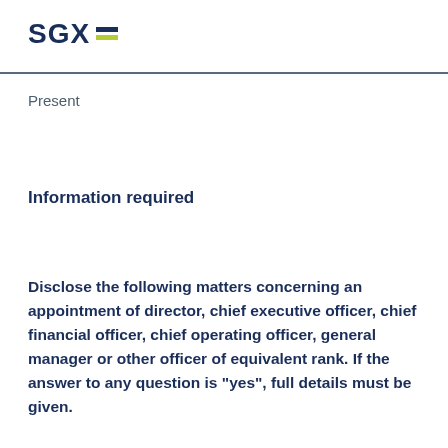SGX
Present
Information required
Disclose the following matters concerning an appointment of director, chief executive officer, chief financial officer, chief operating officer, general manager or other officer of equivalent rank. If the answer to any question is "yes", full details must be given.